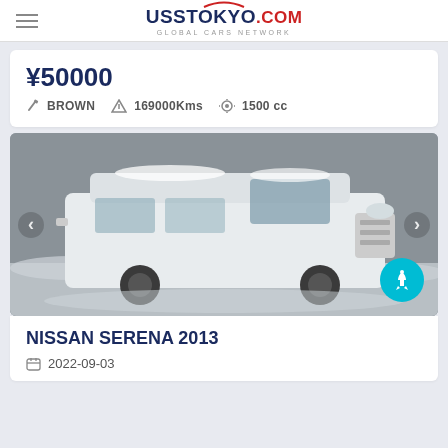UssTokyo.com GLOBAL CARS NETWORK
¥50000 BROWN 169000Kms 1500 cc
[Figure (photo): White Nissan Serena 2013 van/minivan photographed outdoors in snowy/winter conditions, front and side view]
NISSAN SERENA 2013
2022-09-03